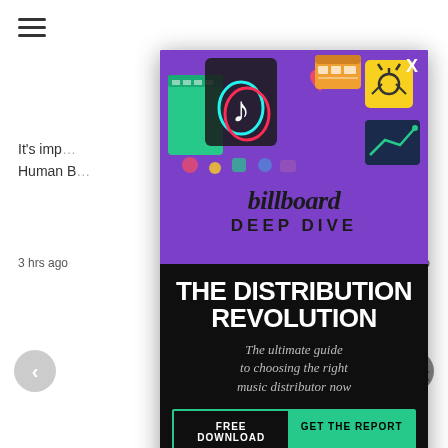[Figure (screenshot): Website background with hamburger menu, article headlines, navigation arrows, and gray content blocks]
[Figure (infographic): Billboard Deep Dive promotional modal ad overlay. Purple top with social media app icons illustration. Black center with title 'THE DISTRIBUTION REVOLUTION' and subtitle 'The ultimate guide to choosing the right music distributor now'. CTA buttons: FREE DOWNLOAD and GET THE REPORT. Yellow bottom strip with text 'JUST $45 RIGHT NOW'.]
THE DISTRIBUTION REVOLUTION
The ultimate guide to choosing the right music distributor now
FREE DOWNLOAD
GET THE REPORT
JUST $45 RIGHT NOW